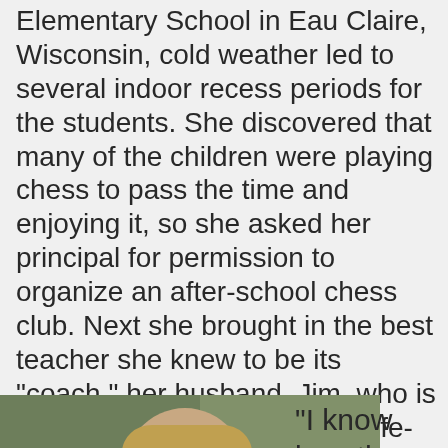Elementary School in Eau Claire, Wisconsin, cold weather led to several indoor recess periods for the students. She discovered that many of the children were playing chess to pass the time and enjoying it, so she asked her principal for permission to organize an after-school chess club. Next she brought in the best teacher she knew to be its "coach," her husband, Jim, who is a high school teacher and a life-long chess player.
[Figure (photo): A young boy in a camouflage shirt looking down at a chess board, with an overlaid advertisement video player showing AdMetricsPro and S&S Worldwide Online Learning branding. The quote '"I know less than' is partially visible to the right of the photo.]